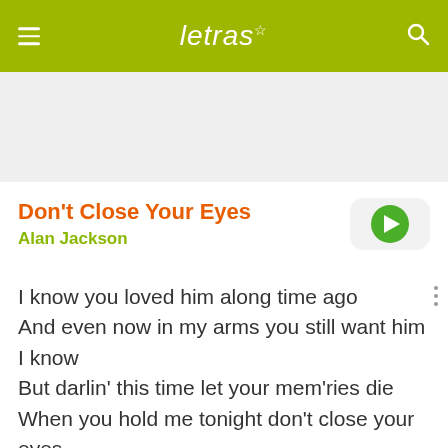letras
[Figure (other): Gray advertisement/banner area]
Don't Close Your Eyes
Alan Jackson
I know you loved him along time ago
And even now in my arms you still want him I know
But darlin' this time let your mem'ries die
When you hold me tonight don't close your eyes